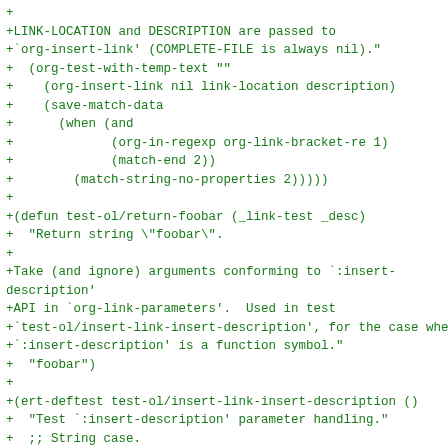+
+LINK-LOCATION and DESCRIPTION are passed to
+`org-insert-link' (COMPLETE-FILE is always nil)."
+  (org-test-with-temp-text ""
+    (org-insert-link nil link-location description)
+    (save-match-data
+      (when (and
+             (org-in-regexp org-link-bracket-re 1)
+             (match-end 2))
+        (match-string-no-properties 2)))))
+
+(defun test-ol/return-foobar (_link-test _desc)
+  "Return string \"foobar\".
+
+Take (and ignore) arguments conforming to `:insert-description'
+API in `org-link-parameters'.  Used in test
+`test-ol/insert-link-insert-description', for the case where
+`:insert-description' is a function symbol."
+  "foobar")
+
+(ert-deftest test-ol/insert-link-insert-description ()
+  "Test `:insert-description' parameter handling."
+  ;; String case.
+  (should
+   (string=
+    "foobar"
+    (test-ol-with-link-parameters-as
+     "id" (:insert-description "foobar")